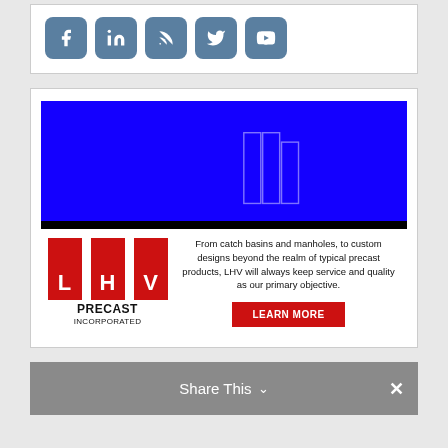[Figure (other): Social media icons: Facebook, LinkedIn, RSS feed, Twitter, YouTube - rounded square blue-grey icons]
[Figure (illustration): LHV Precast Incorporated advertisement. Blue background image with precast concrete structures outline. Red LHV logo with L, H, V letters. Text: From catch basins and manholes, to custom designs beyond the realm of typical precast products, LHV will always keep service and quality as our primary objective. Red LEARN MORE button.]
Share This ∨ ×